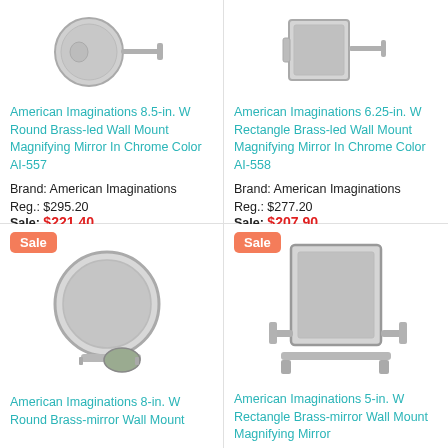[Figure (photo): Round chrome wall mount magnifying mirror with articulating arm – American Imaginations AI-557]
American Imaginations 8.5-in. W Round Brass-led Wall Mount Magnifying Mirror In Chrome Color AI-557
Brand: American Imaginations
Reg.: $295.20
Sale: $221.40
[Figure (photo): Rectangle chrome wall mount magnifying mirror with articulating arm – American Imaginations AI-558]
American Imaginations 6.25-in. W Rectangle Brass-led Wall Mount Magnifying Mirror In Chrome Color AI-558
Brand: American Imaginations
Reg.: $277.20
Sale: $207.90
[Figure (photo): Round chrome/nickel wall mount magnifying mirror with articulating arm – American Imaginations, Sale badge]
American Imaginations 8-in. W Round Brass-mirror Wall Mount Magnifying Mirror In Chrome Color
[Figure (photo): Rectangle brushed nickel wall mount magnifying mirror with articulating arm – American Imaginations, Sale badge]
American Imaginations 5-in. W Rectangle Brass-mirror Wall Mount Magnifying Mirror In Nickel Color